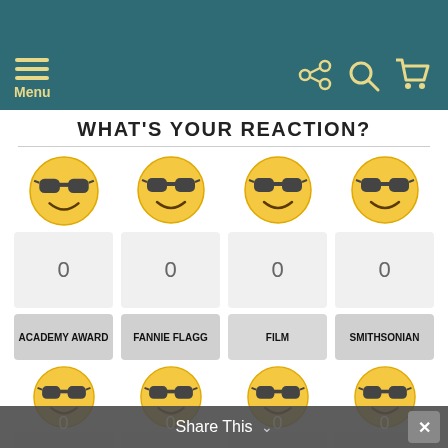Menu
WHAT'S YOUR REACTION?
| Category 1 | Category 2 | Category 3 | Category 4 |
| --- | --- | --- | --- |
| 0 | 0 | 0 | 0 |
| ACADEMY AWARD | FANNIE FLAGG | FILM | SMITHSONIAN |
Share This